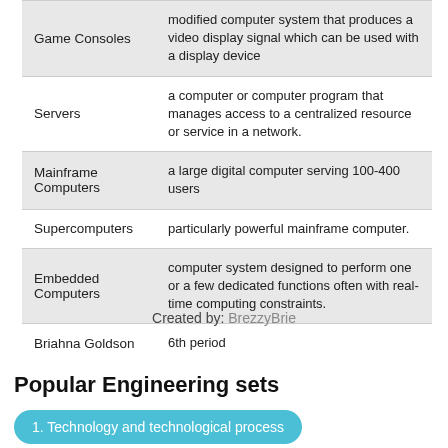| Term | Definition |
| --- | --- |
| Game Consoles | modified computer system that produces a video display signal which can be used with a display device |
| Servers | a computer or computer program that manages access to a centralized resource or service in a network. |
| Mainframe Computers | a large digital computer serving 100-400 users |
| Supercomputers | particularly powerful mainframe computer. |
| Embedded Computers | computer system designed to perform one or a few dedicated functions often with real-time computing constraints. |
| Briahna Goldson | 6th period |
Created by: BrezzyBrie
Popular Engineering sets
1. Technology and technological process